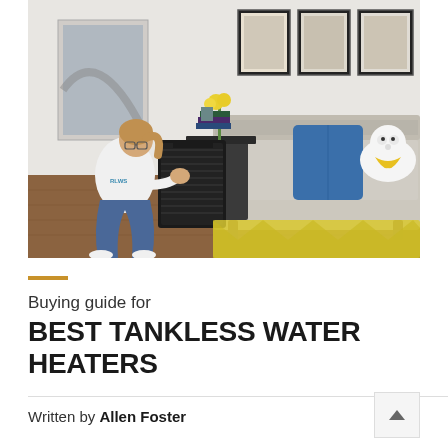[Figure (photo): A woman in a white sweatshirt and jeans kneeling on a wooden floor next to a black Honeywell air purifier unit placed beside a beige sofa with a blue pillow. A white dog sits on the sofa wearing a yellow bandana. Three framed prints hang on the wall in the background. A yellow geometric patterned rug is visible on the floor.]
Buying guide for BEST TANKLESS WATER HEATERS
Written by Allen Foster